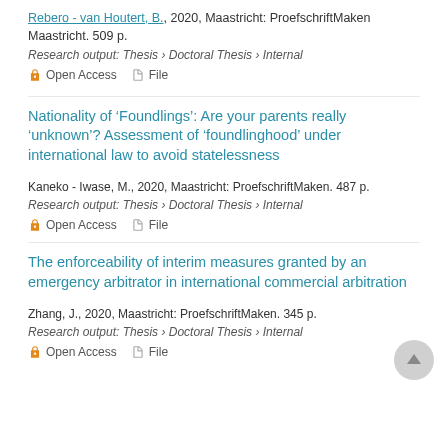Rebero - van Houtert, B., 2020, Maastricht: ProefschriftMaken Maastricht. 509 p.
Research output: Thesis › Doctoral Thesis › Internal
Open Access   File
Nationality of 'Foundlings': Are your parents really 'unknown'? Assessment of 'foundlinghood' under international law to avoid statelessness
Kaneko - Iwase, M., 2020, Maastricht: ProefschriftMaken. 487 p.
Research output: Thesis › Doctoral Thesis › Internal
Open Access   File
The enforceability of interim measures granted by an emergency arbitrator in international commercial arbitration
Zhang, J., 2020, Maastricht: ProefschriftMaken. 345 p.
Research output: Thesis › Doctoral Thesis › Internal
Open Access   File